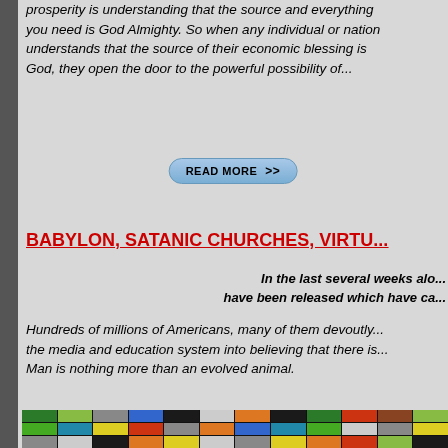prosperity is understanding that the source and everything you need is God Almighty. So when any individual or nation understands that the source of their economic blessing is God, they open the door to the powerful possibility of...
READ MORE >>
BABYLON, SATANIC CHURCHES, VIRTU...
In the last several weeks alo... have been released which have ca...
Hundreds of millions of Americans, many of them devoutly... the media and education system into believing that there is... Man is nothing more than an evolved animal.
[Figure (photo): Grid of colorful thumbnail images with silhouettes of people standing in front of them, resembling a media wall or video wall display]